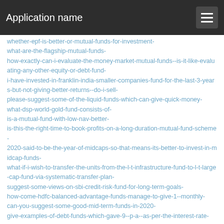Application name
whether-epf-is-better-or-mutual-funds-for-investment-
what-are-the-flagship-mutual-funds-
how-exactly-can-i-evaluate-the-money-market-mutual-funds--is-it-like-evaluating-any-other-equity-or-debt-fund-
i-have-invested-in-franklin-india-smaller-companies-fund-for-the-last-3-years-but-not-giving-better-returns--do-i-sell-
please-suggest-some-of-the-liquid-funds-which-can-give-quick-money-
what-dsp-world-gold-fund-consists-of-
is-a-mutual-fund-with-low-nav-better-
is-this-the-right-time-to-book-profits-on-a-long-duration-mutual-fund-scheme-
2020-said-to-be-the-year-of-midcaps-so-that-means-its-better-to-invest-in-midcap-funds-
what-if-i-wish-to-transfer-the-units-from-the-l-t-infrastructure-fund-to-l-t-large-cap-fund-via-systematic-transfer-plan-
suggest-some-views-on-sbi-credit-risk-fund-for-long-term-goals-
how-come-hdfc-balanced-advantage-funds-manage-to-give-1--monthly-
can-you-suggest-some-good-mid-term-funds-in-2020-
give-examples-of-debt-funds-which-gave-9--p-a--as-per-the-interest-rate-